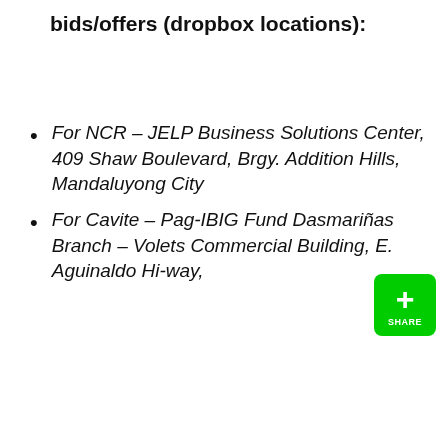bids/offers (dropbox locations):
For NCR – JELP Business Solutions Center, 409 Shaw Boulevard, Brgy. Addition Hills, Mandaluyong City
For Cavite – Pag-IBIG Fund Dasmariñas Branch – Volets Commercial Building, E. Aguinaldo Hi-way,